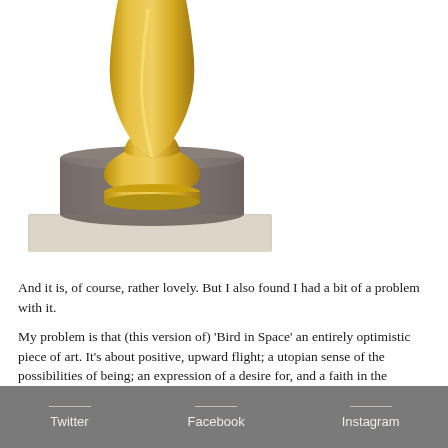[Figure (photo): Lower portion of Brancusi's 'Bird in Space' sculpture — a polished gold/brass elongated form tapering at bottom into a cylindrical stone base, set on a square pale stone plinth. White background.]
And it is, of course, rather lovely. But I also found I had a bit of a problem with it.
My problem is that (this version of) 'Bird in Space' an entirely optimistic piece of art. It's about positive, upward flight; a utopian sense of the possibilities of being; an expression of a desire for, and a faith in the possibility of, transcendence. Brancusi described it as a 'project before being enlarged to fill the vault of the sky'.
Twitter   Facebook   Instagram